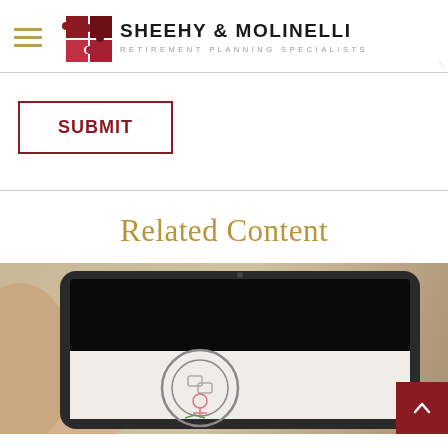SHEEHY & MOLINELLI — RETIREMENT PLANNING SPECIALISTS
SUBMIT
Related Content
[Figure (photo): Hand holding a tablet device displaying a dark screen with a circular diagram/icon, placed on a wooden surface]